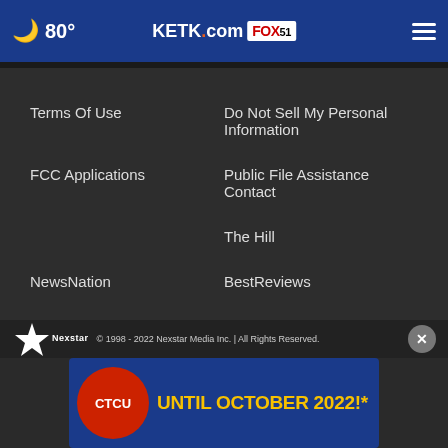80° KETK.com FOX51
Terms Of Use
Do Not Sell My Personal Information
FCC Applications
Public File Assistance Contact
The Hill
NewsNation
BestReviews
Content Licensing
Nexstar Digital
© 1998 - 2022 Nexstar Media Inc. | All Rights Reserved.
[Figure (other): CTCU advertisement banner: UNTIL OCTOBER 2022!*]